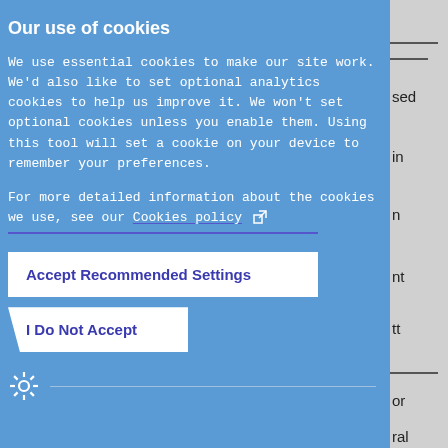Our use of cookies
We use essential cookies to make our site work. We'd also like to set optional analytics cookies to help us improve it. We won't set optional cookies unless you enable them. Using this tool will set a cookie on your device to remember your preferences.
For more detailed information about the cookies we use, see our Cookies policy
Accept Recommended Settings
I Do Not Accept